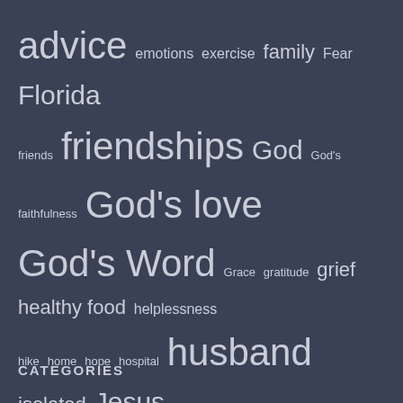[Figure (infographic): Tag cloud on dark blue-grey background with words of varying sizes related to mental health, emotions, and personal journey topics. Words include: advice, emotions, exercise, family, Fear, Florida, friends, friendships, God, God's faithfulness, God's love, God's Word, Grace, gratitude, grief, healthy food, helplessness, hike, home, hope, hospital, husband, isolated, Jesus, journey, kids, kitten, loneliness, lonely, medication, mental health, mental illness, Mindfulness, moving, my story, path, peace, photo101, prayer, psych doc, psychiatrist, relocating, relocation, rest, sad, sadness, serotonin toxicity, sleep, support group, tears, therapist, therapy, vacation, Virginia, writing, Writing 201, writing201]
CATEGORIES